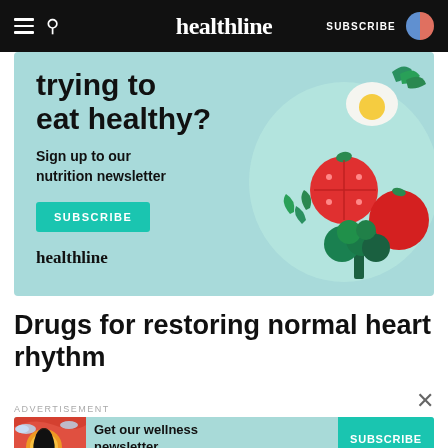healthline — SUBSCRIBE
[Figure (illustration): Healthline nutrition newsletter advertisement banner with light teal background showing illustrated vegetables (tomatoes, broccoli, egg, arugula leaves), bold text 'trying to eat healthy?', 'Sign up to our nutrition newsletter', teal SUBSCRIBE button, and healthline logo.]
Drugs for restoring normal heart rhythm
ADVERTISEMENT
[Figure (illustration): Small Healthline wellness newsletter advertisement banner with teal background, illustrated woman figure on left, text 'Get our wellness newsletter.' and teal SUBSCRIBE button on right.]